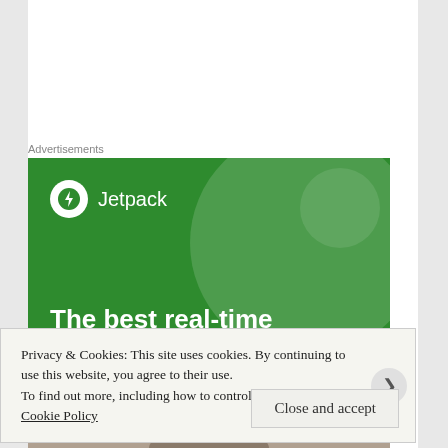Advertisements
[Figure (illustration): Jetpack advertisement banner with green background showing Jetpack logo (circle with lightning bolt icon) and text 'The best real-time WordPress backup' in white bold font on green background with semi-transparent circle decorations]
[Figure (photo): Partial photo strip showing top of a person's head/face, cropped]
Privacy & Cookies: This site uses cookies. By continuing to use this website, you agree to their use.
To find out more, including how to control cookies, see here: Cookie Policy
Close and accept